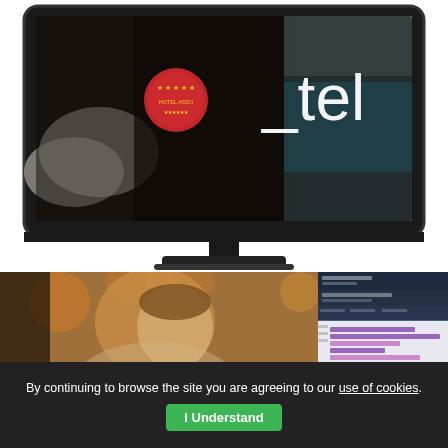[Figure (screenshot): A desktop monitor displaying a hotel booking website called 'o_tel' with a luxury hotel room and pool background image on screen. The monitor is dark/black colored.]
[Figure (photo): A young man looking down, set in a warm restaurant/bar interior, next to a screenshot of a hotel management dashboard with purple bar charts.]
By continuing to browse the site you are agreeing to our use of cookies.
I Understand